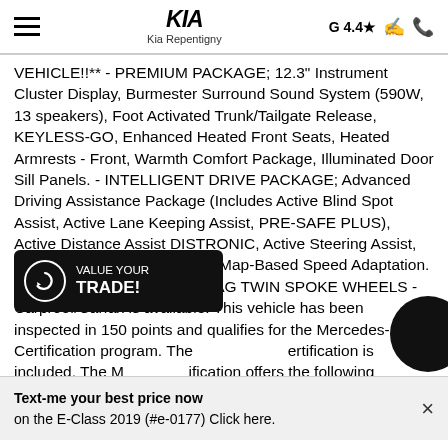Kia Repentigny — G 4.4★
VEHICLE!!** - PREMIUM PACKAGE; 12.3" Instrument Cluster Display, Burmester Surround Sound System (590W, 13 speakers), Foot Activated Trunk/Tailgate Release, KEYLESS-GO, Enhanced Heated Front Seats, Heated Armrests - Front, Warmth Comfort Package, Illuminated Door Sill Panels. - INTELLIGENT DRIVE PACKAGE; Advanced Driving Assistance Package (Includes Active Blind Spot Assist, Active Lane Keeping Assist, PRE-SAFE PLUS), Active Distance Assist DISTRONIC, Active Steering Assist, Active Lane Changing Assist, Map-Based Speed Adaptation. - HEAD UP DISPLAY - 19" MAG TWIN SPOKE WHEELS - Carproof/Carfax is available. This vehicle has been inspected in 150 points and qualifies for the Mercedes-Benz Certification program. The Mercedes-Benz Certification is included. The Mercedes-Benz Certification offers the following advantages: Discounted certified finance rate, extended warranty up to 6 years or 120 000km* and roadside assistance. Mercedes-Benz extended warranty are
[Figure (other): VALUE YOUR TRADE! button overlay with circular arrow icon]
[Figure (other): Partial dark circular chat bubble icon visible at bottom right]
Text-me your best price now on the E-Class 2019 (#e-0177) Click here.